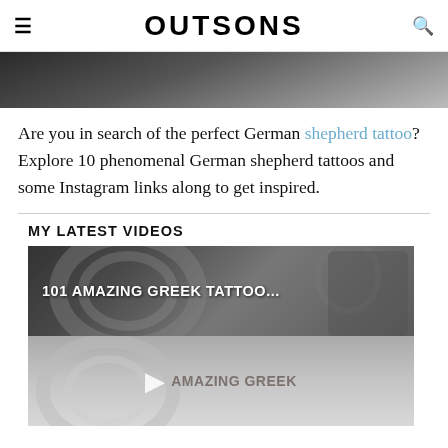OUTSONS
[Figure (photo): Partial view of a German shepherd tattoo photo — dark tones, top portion cropped]
Are you in search of the perfect German shepherd tattoo? Explore 10 phenomenal German shepherd tattoos and some Instagram links along to get inspired.
MY LATEST VIDEOS
[Figure (screenshot): Video thumbnail showing '101 AMAZING GREEK TATTOO...' with a play button and 'AMAZING GREEK' text overlay on a stylized image]